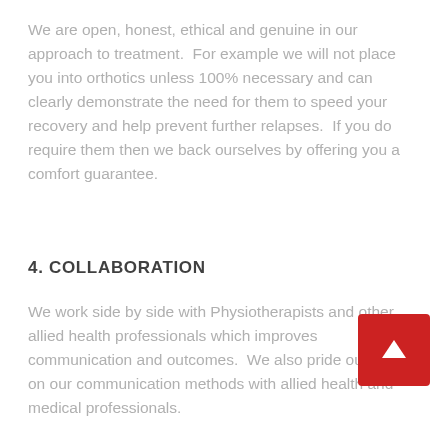We are open, honest, ethical and genuine in our approach to treatment.  For example we will not place you into orthotics unless 100% necessary and can clearly demonstrate the need for them to speed your recovery and help prevent further relapses.  If you do require them then we back ourselves by offering you a comfort guarantee.
4. COLLABORATION
We work side by side with Physiotherapists and other allied health professionals which improves communication and outcomes.  We also pride ourselves on our communication methods with allied health and medical professionals.